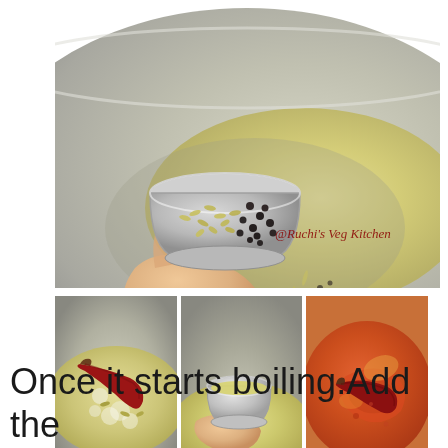[Figure (photo): Top photo: A hand holding a small bowl/cup of mixed spices (cumin seeds and black mustard seeds) being poured into a large metal wok/kadai containing hot oil. Watermark reads '@Ruchi's Veg Kitchen'.]
[Figure (photo): Bottom-left photo: Close-up of a frying pan with sizzling oil, cumin seeds, and a dried red chili.]
[Figure (photo): Bottom-center photo: A hand holding a small metal cup being poured into a pan with sizzling oil and spices. Watermark visible.]
[Figure (photo): Bottom-right photo: Pan with reddish-orange mixture (tomato/spice base) with a dried red chili.]
Once it starts boiling.Add the